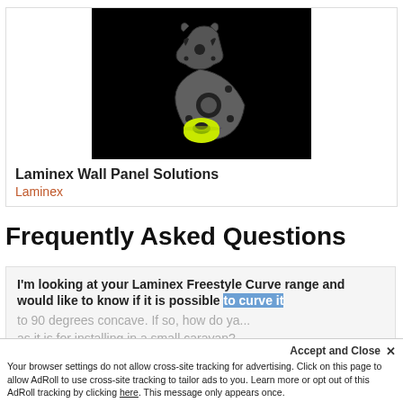[Figure (photo): Product photo showing metal Laminex wall panel connector hardware components and a small yellow-green rubber grommet on a black background]
Laminex Wall Panel Solutions
Laminex
Frequently Asked Questions
I'm looking at your Laminex Freestyle Curve range and would like to know if it is possible to curve it to 90 degrees concave. If so, how do ya... as it is for installing in a small caravan?
Accept and Close ✕
Your browser settings do not allow cross-site tracking for advertising. Click on this page to allow AdRoll to use cross-site tracking to tailor ads to you. Learn more or opt out of this AdRoll tracking by clicking here. This message only appears once.